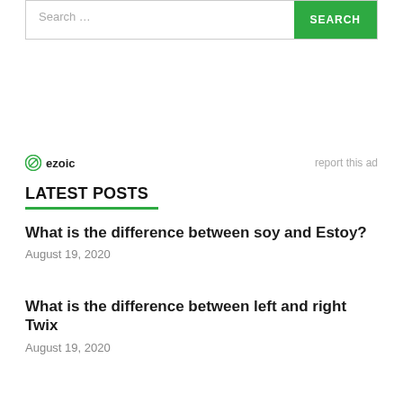[Figure (screenshot): Search bar with text input placeholder 'Search ...' and a green SEARCH button]
[Figure (logo): Ezoic logo with circular icon and 'report this ad' link on the right]
LATEST POSTS
What is the difference between soy and Estoy?
August 19, 2020
What is the difference between left and right Twix
August 19, 2020